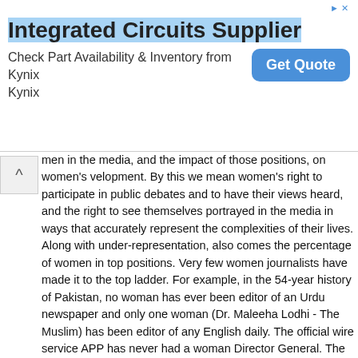[Figure (other): Advertisement banner for Integrated Circuits Supplier - Kynix, with 'Get Quote' button]
men in the media, and the impact of those positions, on women's velopment. By this we mean women's right to participate in public debates and to have their views heard, and the right to see themselves portrayed in the media in ways that accurately represent the complexities of their lives. Along with under-representation, also comes the percentage of women in top positions. Very few women journalists have made it to the top ladder. For example, in the 54-year history of Pakistan, no woman has ever been editor of an Urdu newspaper and only one woman (Dr. Maleeha Lodhi - The Muslim) has been editor of any English daily. The official wire service APP has never had a woman Director General. The Herald was the only English political monthly that had a woman editor as well as a predominantly female staff. This group later resigned en masse from Herald and brought out another political/social magazine The Newsline. In Urdu and regional language press (that captures more than 80% of the newspaper market), there are very few women workers. The state-controlled Pakistan Television Corporation has had one woman reaching the top position of Managing Director and another woman that of Director Programmes. But state-owned Pakistan Broadcasting Corporation has never had a woman as Director General. The many, new private television and radio channels have no doubt employed many young women as reporters and DJs, but this is where it all stops.
Policies and Commitments
One of the twelve recommendations in the Platform for Action that